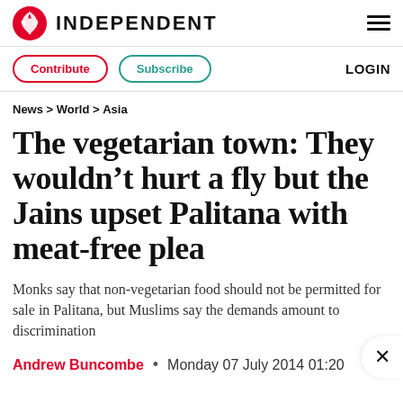INDEPENDENT
Contribute  Subscribe  LOGIN
News > World > Asia
The vegetarian town: They wouldn't hurt a fly but the Jains upset Palitana with meat-free plea
Monks say that non-vegetarian food should not be permitted for sale in Palitana, but Muslims say the demands amount to discrimination
Andrew Buncombe • Monday 07 July 2014 01:20